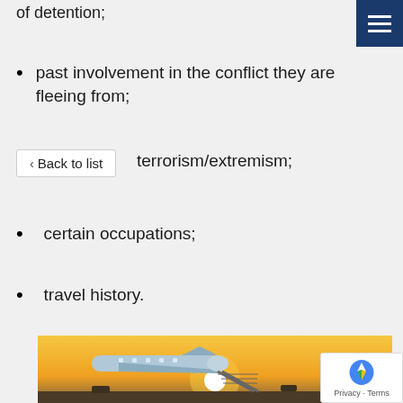of detention;
past involvement in the conflict they are fleeing from;
terrorism/extremism;
certain occupations;
travel history.
[Figure (photo): Airplane on tarmac at sunset/sunrise with orange sky and sun on the horizon]